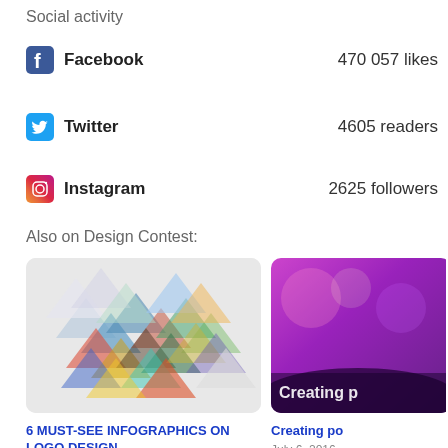Social activity
Facebook  470 057 likes
Twitter  4605 readers
Instagram  2625 followers
Also on Design Contest:
[Figure (illustration): Colorful geometric triangles pattern on light gray background]
6 MUST-SEE INFOGRAPHICS ON LOGO DESIGN
February 18, 2015
[Figure (photo): Purple concert lighting with crowd silhouette, text 'Creating p...']
Creating po...
July 6, 2016